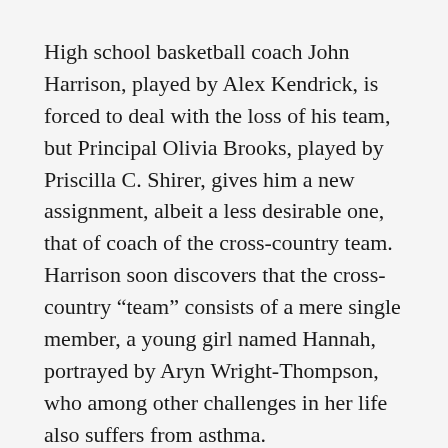High school basketball coach John Harrison, played by Alex Kendrick, is forced to deal with the loss of his team, but Principal Olivia Brooks, played by Priscilla C. Shirer, gives him a new assignment, albeit a less desirable one, that of coach of the cross-country team.
Harrison soon discovers that the cross-country “team” consists of a mere single member, a young girl named Hannah, portrayed by Aryn Wright-Thompson, who among other challenges in her life also suffers from asthma.
In getting to know Hannah, viewers come to find out that she had been told that her...